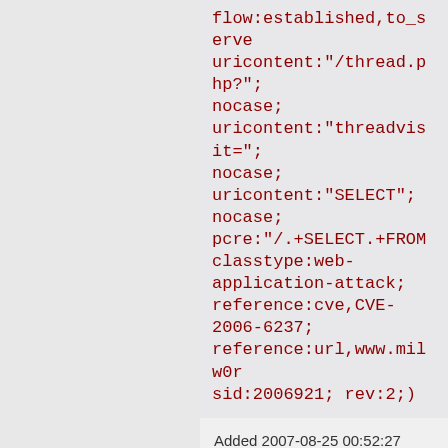flow:established,to_server; uricontent:"/thread.php?"; nocase; uricontent:"threadvisit="; nocase; uricontent:"SELECT"; nocase; pcre:"/.+SELECT.+FROM classtype:web-application-attack; reference:cve,CVE-2006-6237; reference:url,www.milw0r sid:2006921; rev:2;)
Added 2007-08-25 00:52:27 UTC
alert tcp $EXTERNAL_NET